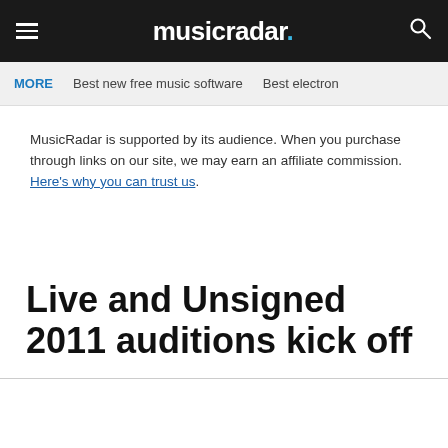musicradar.
MORE  Best new free music software  Best electron
MusicRadar is supported by its audience. When you purchase through links on our site, we may earn an affiliate commission. Here's why you can trust us.
Live and Unsigned 2011 auditions kick off